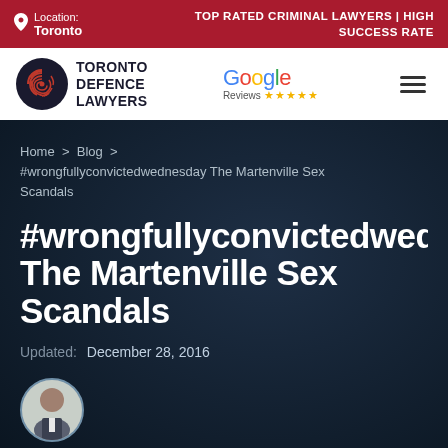Location: Toronto | TOP RATED CRIMINAL LAWYERS | HIGH SUCCESS RATE
[Figure (logo): Toronto Defence Lawyers logo with fingerprint icon and Google Reviews 5-star badge, plus hamburger menu]
Home > Blog > #wrongfullyconvictedwednesday The Martenville Sex Scandals
#wrongfullyconvictedwednesday The Martenville Sex Scandals
Updated: December 28, 2016
[Figure (photo): Circular author headshot photo of a bald man in a suit]